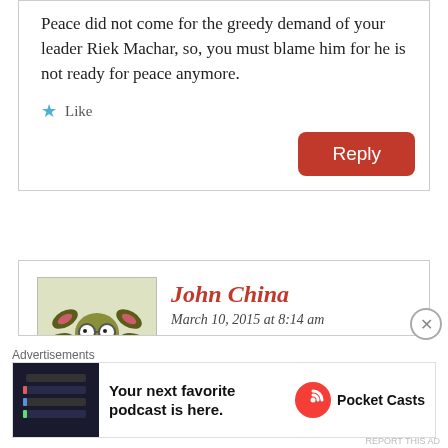Peace did not come for the greedy demand of your leader Riek Machar, so, you must blame him for he is not ready for peace anymore.
★ Like
Reply
John China
March 10, 2015 at 8:14 am
Mabior Rebecca Nyandeeng (Manh Tik), Is it not too late for regrets and beggings? What happen to your pathetic and folly
Advertisements
[Figure (screenshot): Pocket Casts advertisement banner with app screenshot and logo]
Your next favorite podcast is here.
Pocket Casts